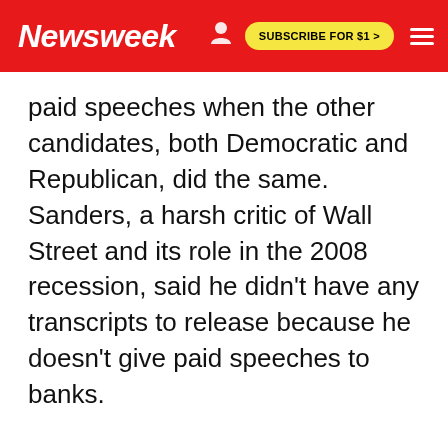Newsweek | SUBSCRIBE FOR $1 >
paid speeches when the other candidates, both Democratic and Republican, did the same. Sanders, a harsh critic of Wall Street and its role in the 2008 recession, said he didn't have any transcripts to release because he doesn't give paid speeches to banks.